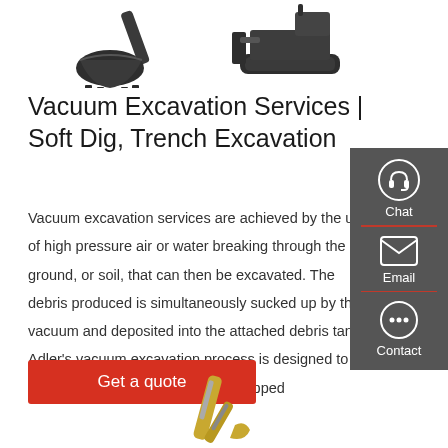[Figure (photo): Excavator bucket and bulldozer machinery at top of page]
Vacuum Excavation Services | Soft Dig, Trench Excavation
Vacuum excavation services are achieved by the use of high pressure air or water breaking through the ground, or soil, that can then be excavated. The debris produced is simultaneously sucked up by the vacuum and deposited into the attached debris tank. Adler's vacuum excavation process is designed to be smooth and efficient; with fully equipped
[Figure (infographic): Side panel with Chat, Email, and Contact icons on dark grey background]
Get a quote
[Figure (photo): Yellow excavator machinery at bottom of page]